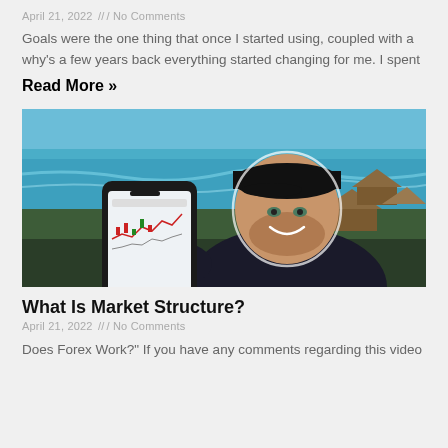April 21, 2022 /// No Comments
Goals were the one thing that once I started using, coupled with a why's a few years back everything started changing for me. I spent
Read More »
[Figure (photo): Man in black cap and polo shirt holding a smartphone showing a trading chart, smiling, with a tropical beach and thatched-roof huts in the background.]
What Is Market Structure?
April 21, 2022 /// No Comments
Does Forex Work?" If you have any comments regarding this video